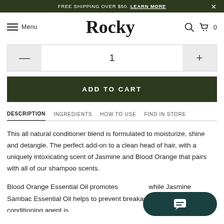FREE SHIPPING OVER $50. LEARN MORE
Rocky
[Figure (screenshot): Quantity selector with minus button, value 1, and plus button]
ADD TO CART
DESCRIPTION  INGREDIENTS  HOW TO USE  FIND IN STORE
This all natural conditioner blend is formulated to moisturize, shine and detangle. The perfect add-on to a clean head of hair, with a uniquely intoxicating scent of Jasmine and Blood Orange that pairs with all of our shampoo scents.
Blood Orange Essential Oil promotes... while Jasmine Sambac Essential Oil helps to prevent breakage. Our main conditioning agent is...